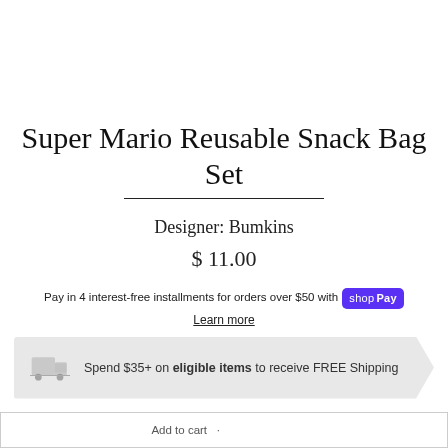Super Mario Reusable Snack Bag Set
Designer: Bumkins
$ 11.00
Pay in 4 interest-free installments for orders over $50 with shop Pay
Learn more
Spend $35+ on eligible items to receive FREE Shipping
- 1 +